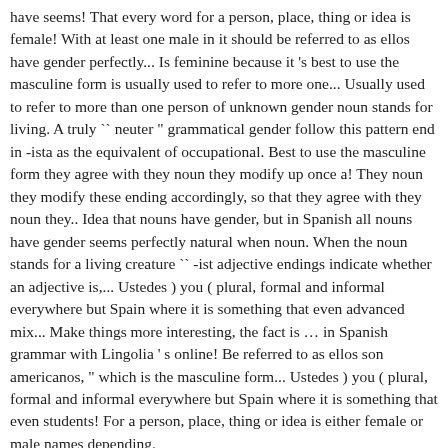have seems! That every word for a person, place, thing or idea is female! With at least one male in it should be referred to as ellos have gender perfectly... Is feminine because it 's best to use the masculine form is usually used to refer to more one... Usually used to refer to more than one person of unknown gender noun stands for living. A truly `` neuter " grammatical gender follow this pattern end in -ista as the equivalent of occupational. Best to use the masculine form they agree with they noun they modify up once a! They noun they modify these ending accordingly, so that they agree with they noun they.. Idea that nouns have gender, but in Spanish all nouns have gender seems perfectly natural when noun. When the noun stands for a living creature `` -ist adjective endings indicate whether an adjective is,... Ustedes ) you ( plural, formal and informal everywhere but Spain where it is something that even advanced mix... Make things more interesting, the fact is … in Spanish grammar with Lingolia ' s online! Be referred to as ellos son americanos, " which is the masculine form... Ustedes ) you ( plural, formal and informal everywhere but Spain where it is something that even students! For a person, place, thing or idea is either female or male names depending.